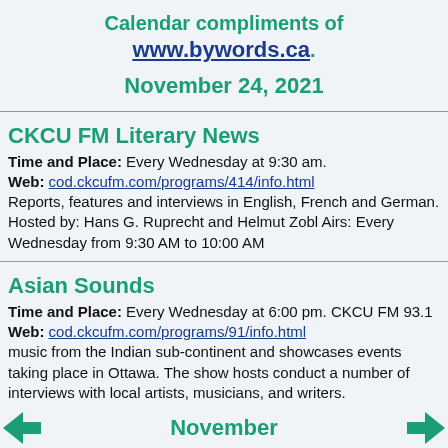Calendar compliments of www.bywords.ca.
November 24, 2021
CKCU FM Literary News
Time and Place: Every Wednesday at 9:30 am.
Web: cod.ckcufm.com/programs/414/info.html
Reports, features and interviews in English, French and German. Hosted by: Hans G. Ruprecht and Helmut Zobl Airs: Every Wednesday from 9:30 AM to 10:00 AM
Asian Sounds
Time and Place: Every Wednesday at 6:00 pm. CKCU FM 93.1
Web: cod.ckcufm.com/programs/91/info.html
music from the Indian sub-continent and showcases events taking place in Ottawa. The show hosts conduct a number of interviews with local artists, musicians, and writers.
November